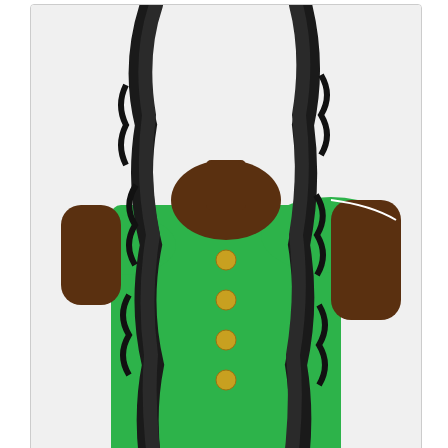[Figure (photo): Main product photo: woman with long curly black wig wearing green off-shoulder top with gold buttons]
[Figure (photo): Thumbnail 1: woman with long curly black wig in green top, front view]
[Figure (photo): Thumbnail 2: woman with long curly black wig in green off-shoulder top]
[Figure (photo): Thumbnail 3: woman with long curly black wig in green top, closeup]
[Figure (photo): Thumbnail 4: back view of long curly black wig on model in green top]
Sensationnel Cloud 9 Synthetic Hair 4x4 Lace Parting Swiss Lace Wig -